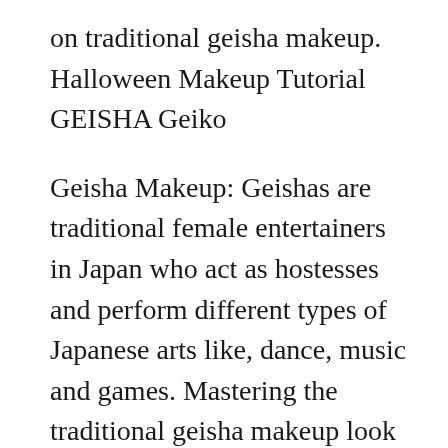on traditional geisha makeup. Halloween Makeup Tutorial GEISHA Geiko
Geisha Makeup: Geishas are traditional female entertainers in Japan who act as hostesses and perform different types of Japanese arts like, dance, music and games. Mastering the traditional geisha makeup look is exceptionally important as it is very expensive to hire a geisha and they Step by Step Eye Makeup Photo Tutorial;
The traditional arts. Today's geisha are gatekeepers of Japan's traditional arts, spending their whole lives mastering classical music, dance, games and conversation. Christina of